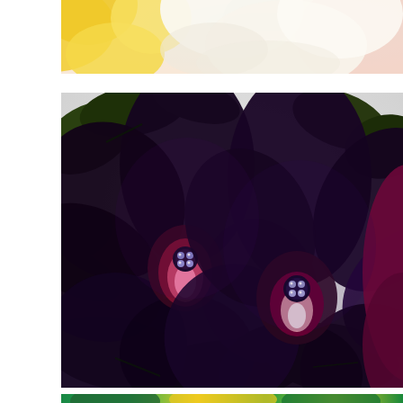[Figure (illustration): Top portion of a floral painting showing soft yellow and white flower petals with pastel pink and blue background — closeup view cropped at top]
[Figure (illustration): Painting of two large dark purple/black petunia flowers with deep violet petals, pink-white centers with small dark stamens, surrounded by dark green leaves on a light gray background — partially visible third crimson flower on right edge]
[Figure (illustration): Bottom edge of a third floral painting showing bright teal-green and yellow petals — only top sliver visible]